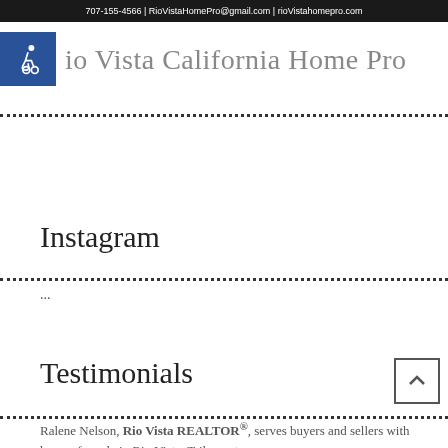707-155-4566 | RioVistaHomePro@gmail.com | rioVistahomepro.com
[Figure (logo): Blue accessibility wheelchair symbol badge]
io Vista California Home Pro
Instagram
...
Testimonials
Ralene Nelson, Rio Vista REALTOR®, serves buyers and sellers with homes for sale in Rio Vista, Trilogy at